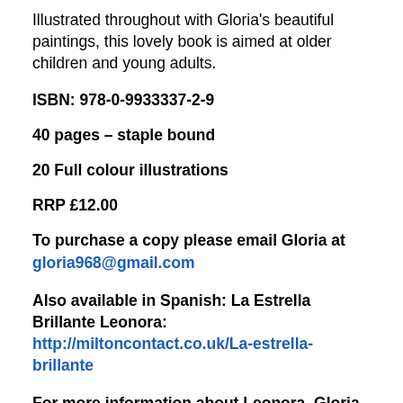Illustrated throughout with Gloria's beautiful paintings, this lovely book is aimed at older children and young adults.
ISBN: 978-0-9933337-2-9
40 pages – staple bound
20 Full colour illustrations
RRP £12.00
To purchase a copy please email Gloria at gloria968@gmail.com
Also available in Spanish: La Estrella Brillante Leonora: http://miltoncontact.co.uk/La-estrella-brillante
For more information about Leonora, Gloria and her paintings, please visit her